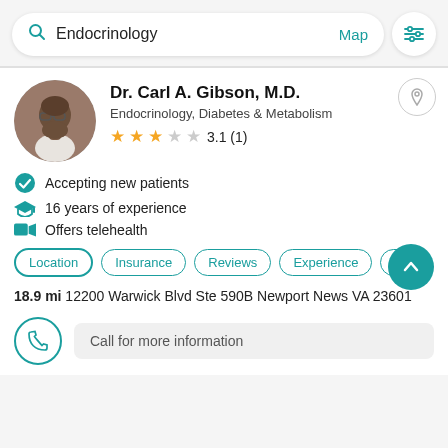[Figure (screenshot): Search bar with 'Endocrinology' query, Map link, and filter icon]
[Figure (photo): Circular headshot of Dr. Carl A. Gibson, M.D., an African American man wearing glasses]
Dr. Carl A. Gibson, M.D.
Endocrinology, Diabetes & Metabolism
3.1 (1)
Accepting new patients
16 years of experience
Offers telehealth
Location | Insurance | Reviews | Experience | A
18.9 mi 12200 Warwick Blvd Ste 590B Newport News VA 23601
Call for more information